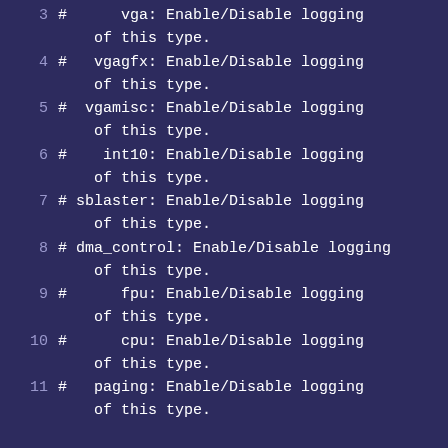3  #      vga: Enable/Disable logging of this type.
4  #   vgagfx: Enable/Disable logging of this type.
5  #  vgamisc: Enable/Disable logging of this type.
6  #    int10: Enable/Disable logging of this type.
7  # sblaster: Enable/Disable logging of this type.
8  # dma_control: Enable/Disable logging of this type.
9  #      fpu: Enable/Disable logging of this type.
10 #      cpu: Enable/Disable logging of this type.
11 #   paging: Enable/Disable logging of this type.